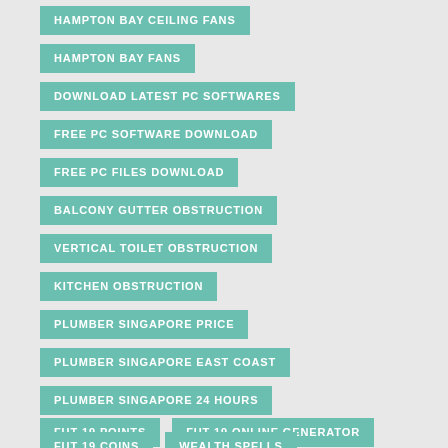HAMPTON BAY CEILING FANS
HAMPTON BAY FANS
DOWNLOAD LATEST PC SOFTWARES
FREE PC SOFTWARE DOWNLOAD
FREE PC FILES DOWNLOAD
BALCONY GUTTER OBSTRUCTION
VERTICAL TOILET OBSTRUCTION
KITCHEN OBSTRUCTION
PLUMBER SINGAPORE PRICE
PLUMBER SINGAPORE EAST COAST
PLUMBER SINGAPORE 24 HOURS
FUT 19 POINTS
FUT 19 ONLINE GENERATOR
FUT 19 COINS
WEALTH SPELLS